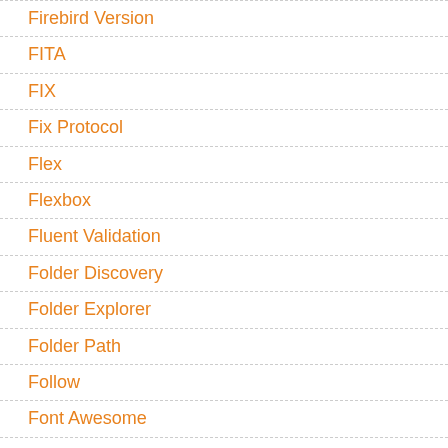Firebird Version
FITA
FIX
Fix Protocol
Flex
Flexbox
Fluent Validation
Folder Discovery
Folder Explorer
Folder Path
Follow
Font Awesome
Footer DataTables
Foreign Keys
Form
Form Builder